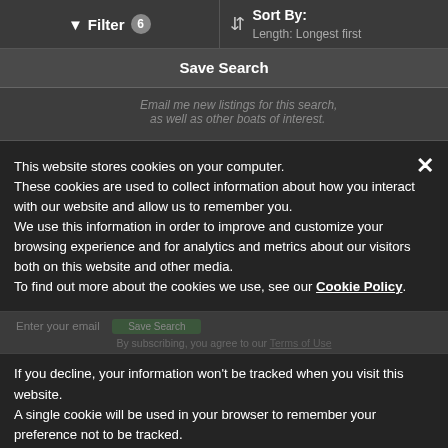Filter 6 | Sort By: Length: Longest first
Save Search
This website stores cookies on your computer. These cookies are used to collect information about how you interact with our website and allow us to remember you. We use this information in order to improve and customize your browsing experience and for analytics and metrics about our visitors both on this website and other media. To find out more about the cookies we use, see our Cookie Policy.
If you decline, your information won't be tracked when you visit this website. A single cookie will be used in your browser to remember your preference not to be tracked.
Deny
Accept Cookies